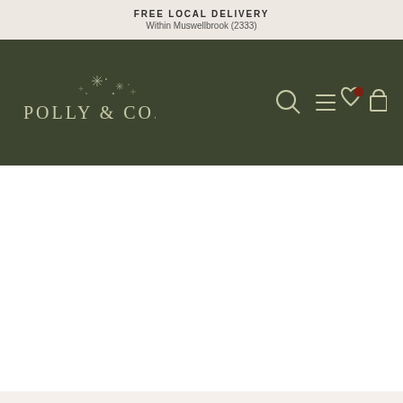FREE LOCAL DELIVERY
Within Muswellbrook (2333)
[Figure (logo): Polly & Co. logo with star/sparkle decorations on dark green navigation bar with search, menu, wishlist, and cart icons]